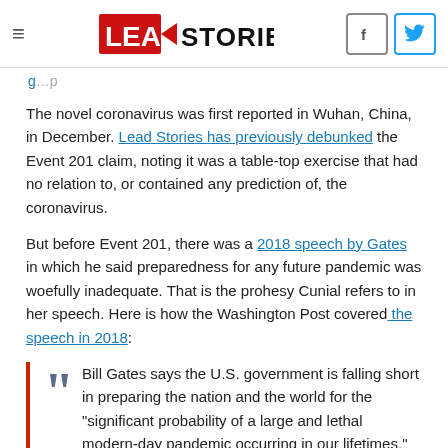Lead Stories
The novel coronavirus was first reported in Wuhan, China, in December. Lead Stories has previously debunked the Event 201 claim, noting it was a table-top exercise that had no relation to, or contained any prediction of, the coronavirus.
But before Event 201, there was a 2018 speech by Gates in which he said preparedness for any future pandemic was woefully inadequate. That is the prohesy Cunial refers to in her speech. Here is how the Washington Post covered the speech in 2018:
Bill Gates says the U.S. government is falling short in preparing the nation and the world for the "significant probability of a large and lethal modern-day pandemic occurring in our lifetimes."